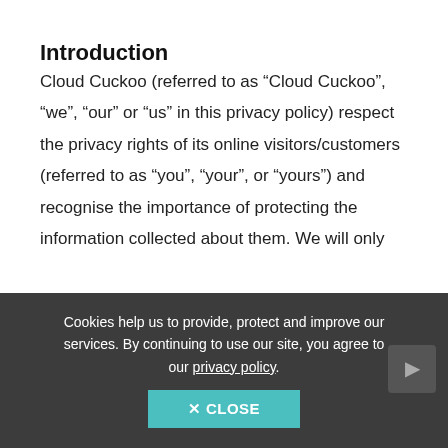Introduction
Cloud Cuckoo (referred to as “Cloud Cuckoo”, “we”, “our” or “us” in this privacy policy) respect the privacy rights of its online visitors/customers (referred to as “you”, “your”, or “yours”) and recognise the importance of protecting the information collected about them. We will only
Cookies help us to provide, protect and improve our services. By continuing to use our site, you agree to our privacy policy.
× CLOSE